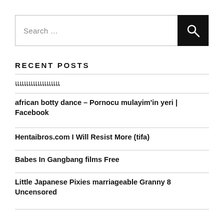Search …
RECENT POSTS
แแแแแแแแแแ
african botty dance – Pornocu mulayim'in yeri | Facebook
Hentaibros.com I Will Resist More (tifa)
Babes In Gangbang films Free
Little Japanese Pixies marriageable Granny 8 Uncensored